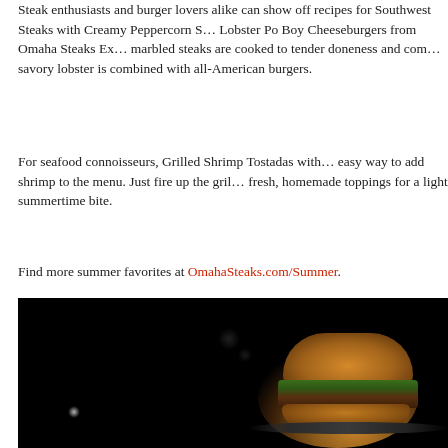Steak enthusiasts and burger lovers alike can show off recipes for Southwest Steaks with Creamy Peppercorn S… Lobster Po Boy Cheeseburgers from Omaha Steaks Ex… marbled steaks are cooked to tender doneness and com… savory lobster is combined with all-American burgers.
For seafood connoisseurs, Grilled Shrimp Tostadas with… easy way to add shrimp to the menu. Just fire up the gril… fresh, homemade toppings for a light summertime bite.
Find more summer favorites at OmahaSteaks.com/Summer.
[Figure (photo): Dark background food photo showing a gourmet burger with a golden brioche bun, fresh lettuce/greens, on a dark plate or surface. The image has a dramatic, moody lighting style with bokeh effects.]